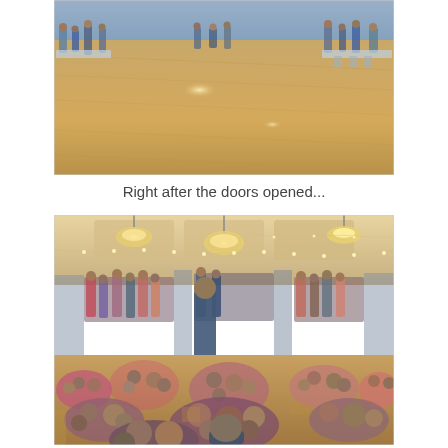[Figure (photo): Indoor event venue photo showing an empty wooden dance floor with people standing around the perimeter near tables and chairs. The room appears nearly empty, taken right after doors opened.]
Right after the doors opened...
[Figure (photo): Indoor event venue now crowded with many people, including children sitting on the wooden floor and adults standing. Chandeliers and string lights hang from the ceiling. The room is packed with attendees.]